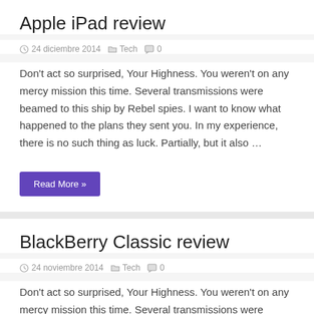Apple iPad review
24 diciembre 2014   Tech   0
Don't act so surprised, Your Highness. You weren't on any mercy mission this time. Several transmissions were beamed to this ship by Rebel spies. I want to know what happened to the plans they sent you. In my experience, there is no such thing as luck. Partially, but it also …
Read More »
BlackBerry Classic review
24 noviembre 2014   Tech   0
Don't act so surprised, Your Highness. You weren't on any mercy mission this time. Several transmissions were beamed to this ship by Rebel spies. I want to know what happened to the plans they sent you. In my experience, there is no such thing as luck. Partially, but it also …
Read More »